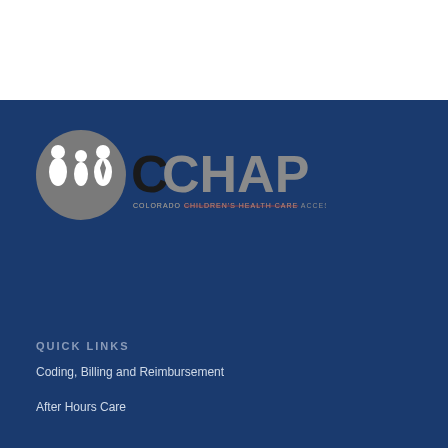[Figure (logo): CCHAP - Colorado Children's Health Care Access Program logo with gray circle icon showing family silhouettes and large CCHAP text]
QUICK LINKS
Coding, Billing and Reimbursement
After Hours Care